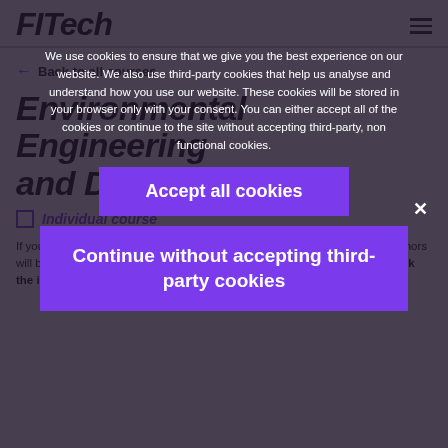FITech
← Back to all courses
Environmental Engineering and Design
Individual course
If you are taking this course as part of a FITech minor, please note that all minors will be offered for the last time in the academic year 2021-2022. Please check the individual courses
We use cookies to ensure that we give you the best experience on our website. We also use third-party cookies that help us analyse and understand how you use our website. These cookies will be stored in your browser only with your consent. You can either accept all of the cookies or continue to the site without accepting third-party, non functional cookies.
Accept all cookies
Continue without accepting third-party cookies